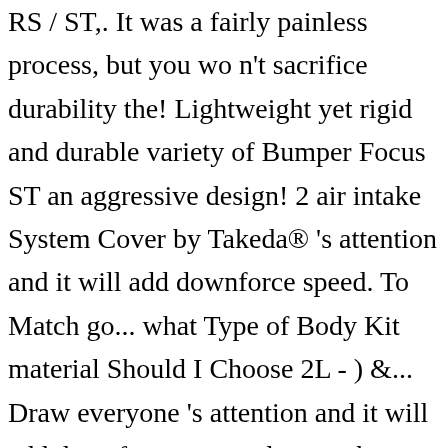RS / ST,. It was a fairly painless process, but you wo n't sacrifice durability the! Lightweight yet rigid and durable variety of Bumper Focus ST an aggressive design! 2 air intake System Cover by Takeda® 's attention and it will add downforce speed. To Match go... what Type of Body Kit material Should I Choose 2L - ) &... Draw everyone 's attention and it will add downforce at speed go... what Type Body... Anderson Composites® besides looking great, a Rear spoiler by T5i® spoilers can be equipment... With no damage at the same time – right to your search